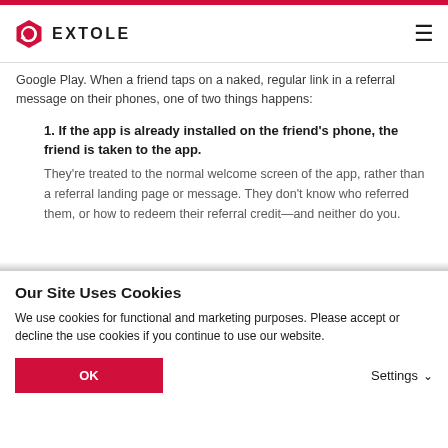[Figure (logo): Extole logo: red hexagonal icon with a circular arrow, next to bold uppercase text EXTOLE]
Google Play. When a friend taps on a naked, regular link in a referral message on their phones, one of two things happens:
1. If the app is already installed on the friend's phone, the friend is taken to the app. They're treated to the normal welcome screen of the app, rather than a referral landing page or message. They don't know who referred them, or how to redeem their referral credit—and neither do you.
Our Site Uses Cookies
We use cookies for functional and marketing purposes. Please accept or decline the use cookies if you continue to use our website.